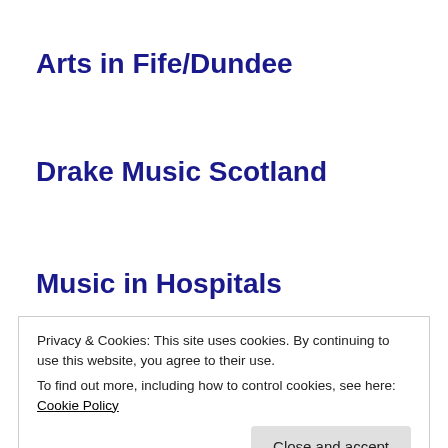Arts in Fife/Dundee
Drake Music Scotland
Music in Hospitals
Privacy & Cookies: This site uses cookies. By continuing to use this website, you agree to their use.
To find out more, including how to control cookies, see here: Cookie Policy
Close and accept